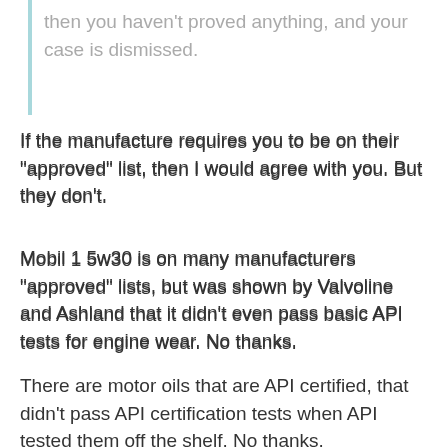then you haven't proved anything, and your case is dismissed.
If the manufacture requires you to be on their "approved" list, then I would agree with you. But they don't.
Mobil 1 5w30 is on many manufacturers "approved" lists, but was shown by Valvoline and Ashland that it didn't even pass basic API tests for engine wear. No thanks.
There are motor oils that are API certified, that didn't pass API certification tests when API tested them off the shelf. No thanks.
I'd rather use something that has been proven to be much better by undisputed independent ASTM testing and backed by a much better warranty for